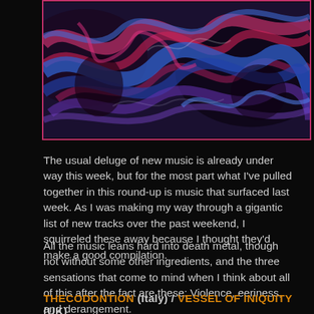[Figure (illustration): Abstract swirling painting with blue, red and purple tones suggesting dark, chaotic imagery — album artwork]
The usual deluge of new music is already under way this week, but for the most part what I've pulled together in this round-up is music that surfaced last week. As I was making my way through a gigantic list of new tracks over the past weekend, I squirreled these away because I thought they'd make a good compilation.
All the music leans hard into death metal, though not without some other ingredients, and the three sensations that come to mind when I think about all of this after the fact are these: Violence, eeriness, and derangement.
THECODONTION (Italy) / VESSEL OF INIQUITY (UK)